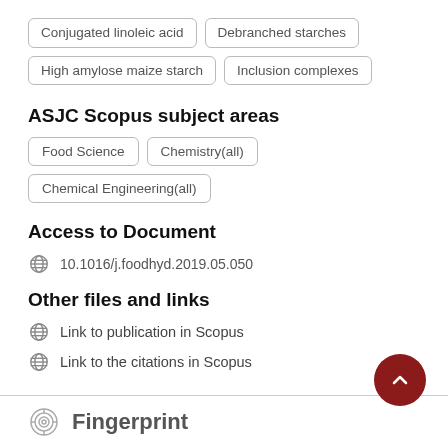Conjugated linoleic acid
Debranched starches
High amylose maize starch
Inclusion complexes
ASJC Scopus subject areas
Food Science
Chemistry(all)
Chemical Engineering(all)
Access to Document
10.1016/j.foodhyd.2019.05.050
Other files and links
Link to publication in Scopus
Link to the citations in Scopus
Fingerprint